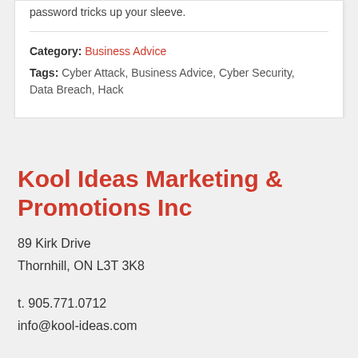password tricks up your sleeve.
Category: Business Advice
Tags: Cyber Attack, Business Advice, Cyber Security, Data Breach, Hack
Kool Ideas Marketing & Promotions Inc
89 Kirk Drive
Thornhill, ON L3T 3K8
t. 905.771.0712
info@kool-ideas.com